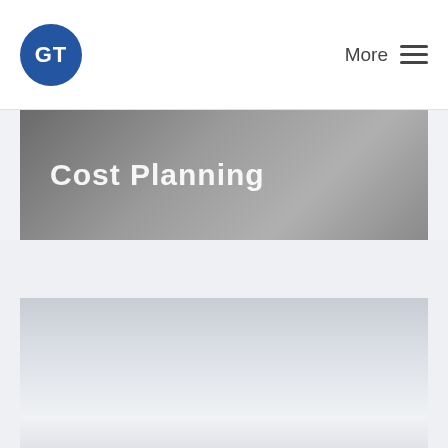GT | More
Cost Planning
[Figure (photo): Large partially visible image or content panel below the Cost Planning banner, showing a light gray gradient area]